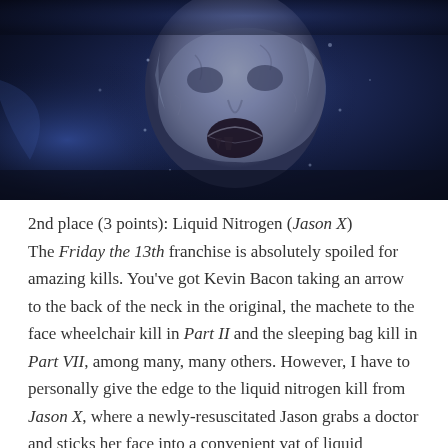[Figure (photo): A dark blue/purple-toned image showing a frozen face with an open mouth and expression of terror, appearing stone-like or icy, against a dark space-like background.]
2nd place (3 points): Liquid Nitrogen (Jason X)
The Friday the 13th franchise is absolutely spoiled for amazing kills. You've got Kevin Bacon taking an arrow to the back of the neck in the original, the machete to the face wheelchair kill in Part II and the sleeping bag kill in Part VII, among many, many others. However, I have to personally give the edge to the liquid nitrogen kill from Jason X, where a newly-resuscitated Jason grabs a doctor and sticks her face into a convenient vat of liquid nitrogen. We get to see her look of terror freeze onto her face before Jason pulls it back out, admires his handiwork